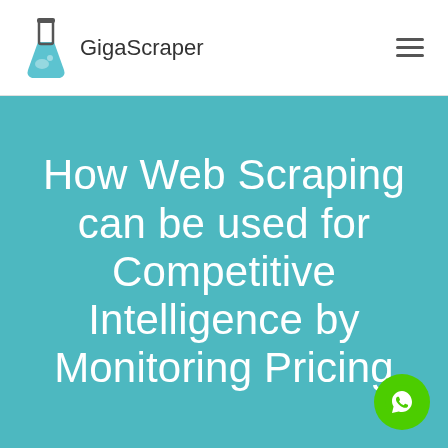GigaScraper
How Web Scraping can be used for Competitive Intelligence by Monitoring Pricing